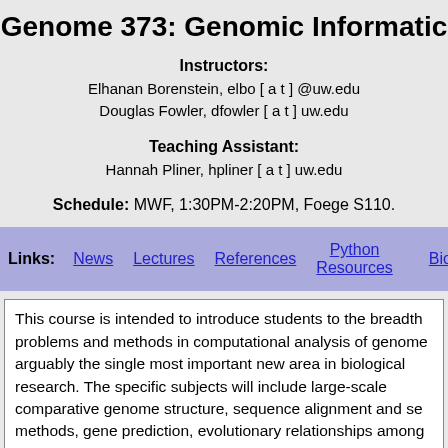Genome 373: Genomic Informatic
Instructors:
Elhanan Borenstein, elbo [ a t ] @uw.edu
Douglas Fowler, dfowler [ a t ] uw.edu
Teaching Assistant:
Hannah Pliner, hpliner [ a t ] uw.edu
Schedule: MWF, 1:30PM-2:20PM, Foege S110.
Links: News  Lectures  References  Python Resources  Bioinf
This course is intended to introduce students to the breadth problems and methods in computational analysis of genome arguably the single most important new area in biological research. The specific subjects will include large-scale comparative genome structure, sequence alignment and se methods, gene prediction, evolutionary relationships among genes, and next-generation sequencing. The course will inc one mid-term exam and a final exam. Other graded assignm will be problem sets, due most weeks. Grades: 50% home